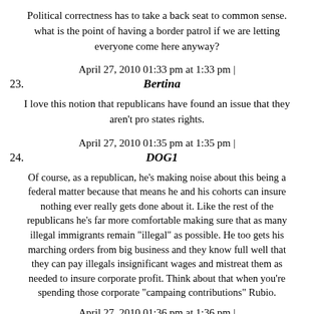Political correctness has to take a back seat to common sense. what is the point of having a border patrol if we are letting everyone come here anyway?
April 27, 2010 01:33 pm at 1:33 pm |
23. Bertina
I love this notion that republicans have found an issue that they aren't pro states rights.
April 27, 2010 01:35 pm at 1:35 pm |
24. DOG1
Of course, as a republican, he's making noise about this being a federal matter because that means he and his cohorts can insure nothing ever really gets done about it. Like the rest of the republicans he's far more comfortable making sure that as many illegal immigrants remain "illegal" as possible. He too gets his marching orders from big business and they know full well that they can pay illegals insignificant wages and mistreat them as needed to insure corporate profit. Think about that when you're spending those corporate "campaing contributions" Rubio.
April 27, 2010 01:36 pm at 1:36 pm |
25. ksu